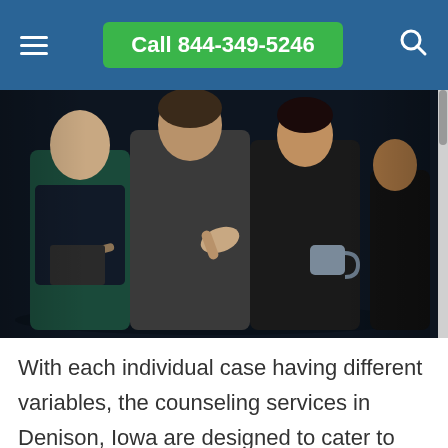Call 844-349-5246
[Figure (photo): Group therapy session with several people seated in a circle; one person gesturing with hands while others listen, one holding a coffee mug and another holding a clipboard.]
With each individual case having different variables, the counseling services in Denison, Iowa are designed to cater to individual needs through personalized